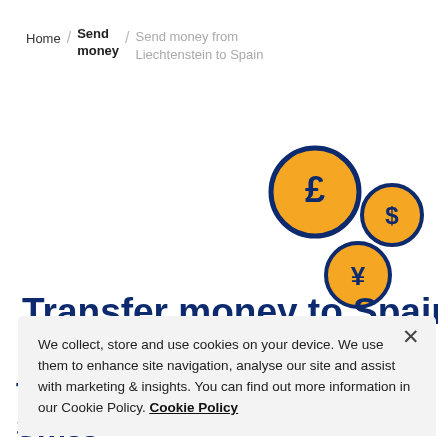Home / Send money / Send money from Liechtenstein to Spain
[Figure (illustration): Three circular currency icons: a large pound sterling (£) circle with dark navy border, a medium dollar ($) circle with dark navy border, and a medium yen (¥) circle with dark navy border, all with orange/gold background fills, arranged in a scattered cluster on the right side of the page.]
Transfer money to Spain
We collect, store and use cookies on your device. We use them to enhance site navigation, analyse our site and assist with marketing & insights. You can find out more information in our Cookie Policy. Cookie Policy
Transfer money to Spain with Swiss